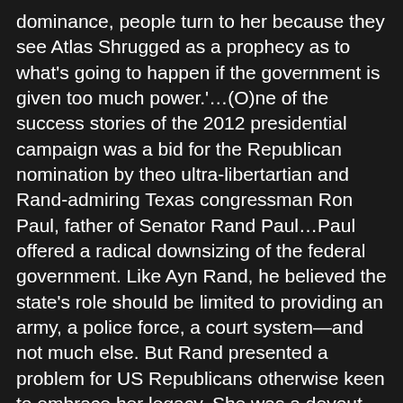dominance, people turn to her because they see Atlas Shrugged as a prophecy as to what's going to happen if the government is given too much power.'…(O)ne of the success stories of the 2012 presidential campaign was a bid for the Republican nomination by theo ultra-libertartian and Rand-admiring Texas congressman Ron Paul, father of Senator Rand Paul…Paul offered a radical downsizing of the federal government. Like Ayn Rand, he believed the state's role should be limited to providing an army, a police force, a court system—and not much else. But Rand presented a problem for US Republicans otherwise keen to embrace her legacy. She was a devout atheist, withering in her disdain for the nonobjectivist mysticism of religion.. Yet inside the Republican party,. Whose with libertarian leanings have only been able to make headway by riding pillion with social conservatives and specifically, white evangelical Christians….Paul Ryan, named as Mitt Romney's running mate, (another Ayn Rand devotee) played down the Rand influence, preferring to say his philosophy was inspired by St. Thomas Aquinas…(former) Secretary of State Rex Tillerson named Atlas Shrugged as his favourite book…CIA director Mike Pompeo... says Atlas Shrugged 'really had an